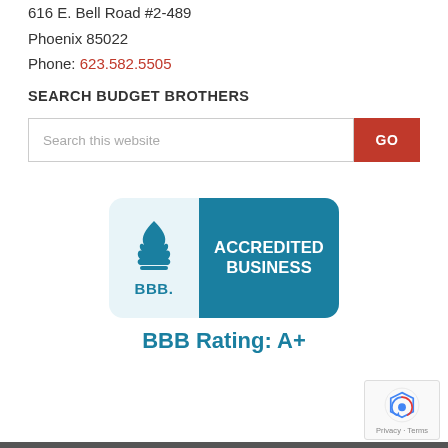616 E. Bell Road #2-489
Phoenix 85022
Phone: 623.582.5505
SEARCH BUDGET BROTHERS
[Figure (screenshot): Search bar with text 'Search this website' and red GO button]
[Figure (logo): BBB Accredited Business badge with teal background and BBB flame logo. Below reads 'BBB Rating: A+']
[Figure (other): reCAPTCHA badge in bottom right corner with Google reCAPTCHA logo and 'Privacy - Terms' text]